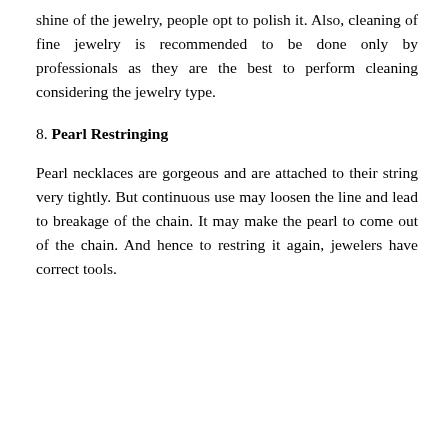shine of the jewelry, people opt to polish it. Also, cleaning of fine jewelry is recommended to be done only by professionals as they are the best to perform cleaning considering the jewelry type.
8. Pearl Restringing
Pearl necklaces are gorgeous and are attached to their string very tightly. But continuous use may loosen the line and lead to breakage of the chain. It may make the pearl to come out of the chain. And hence to restring it again, jewelers have correct tools.